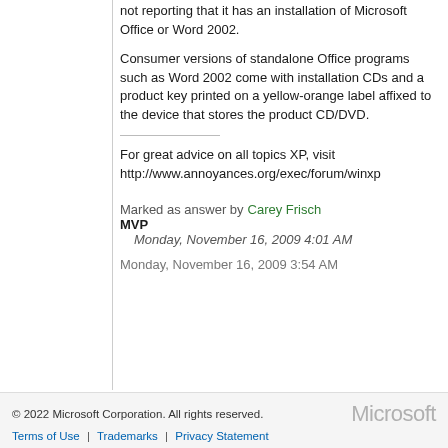not reporting that it has an installation of Microsoft Office or Word 2002.
Consumer versions of standalone Office programs such as Word 2002 come with installation CDs and a product key printed on a yellow-orange label affixed to the device that stores the product CD/DVD.
For great advice on all topics XP, visit http://www.annoyances.org/exec/forum/winxp
Marked as answer by  Carey Frisch MVP
  Monday, November 16, 2009 4:01 AM
Monday, November 16, 2009 3:54 AM
© 2022 Microsoft Corporation. All rights reserved.
Terms of Use  |  Trademarks  |  Privacy Statement